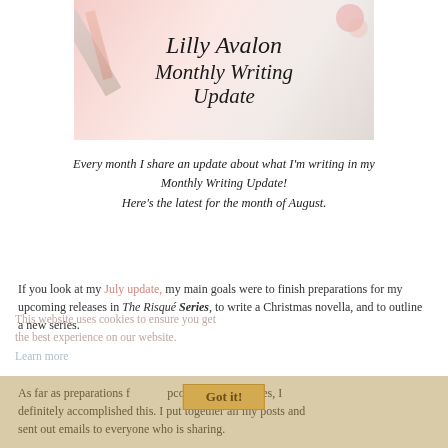[Figure (illustration): Banner image with a stylized script title reading 'Lilly Avalon Monthly Writing Update' on a light pink/blush background with stationery items.]
Every month I share an update about what I'm writing in my Monthly Writing Update! Here's the latest for the month of August.
If you look at my July update, my main goals were to finish preparations for my upcoming releases in The Risqué Series, to write a Christmas novella, and to outline a new series.
This website uses cookies to ensure you get the best experience on our website. Learn more
Have I accomplished this?
As far as preparations for my upcoming releases, yes, I definitely accomplished this. I put together all my posts and sent out emails to everyone who is sharing.
Got it!